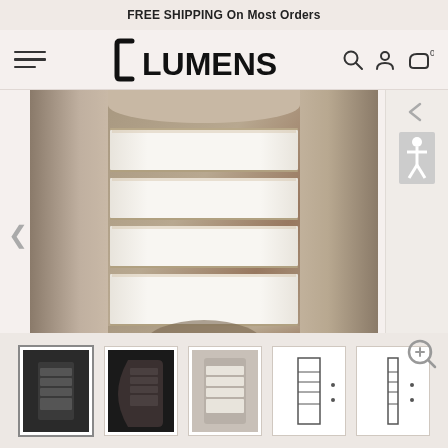FREE SHIPPING On Most Orders
[Figure (logo): Lumens lighting brand logo with stylized bracket and bold text LUMENS]
[Figure (photo): Close-up product photo of a modern wall sconce light fixture in brushed nickel/satin steel finish with horizontal frosted glass diffuser panels arranged in rows]
[Figure (photo): Thumbnail gallery showing 5 product views: front view dark, angled dark view, front view light, front elevation line drawing, side elevation line drawing]